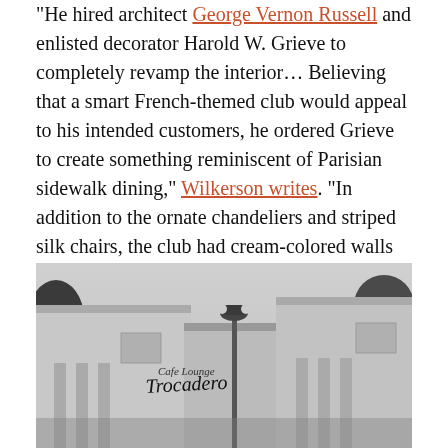“He hired architect George Vernon Russell and enlisted decorator Harold W. Grieve to completely revamp the interior… Believing that a smart French-themed club would appeal to his intended customers, he ordered Grieve to create something reminiscent of Parisian sidewalk dining,” Wilkerson writes. “In addition to the ornate chandeliers and striped silk chairs, the club had cream-colored walls and molding that boasted a hint of gold.”
[Figure (photo): Black and white photograph of the exterior of the Trocadero club, showing a white building with columns, a lamp post, and the cursive 'Trocadero' sign on the facade. Trees are visible in the background.]